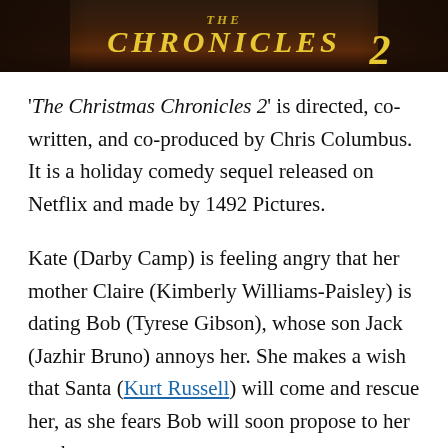[Figure (photo): Movie banner/title card for 'The Christmas Chronicles 2' showing the title text in gold/yellow stylized font against a dark reddish-brown background]
'The Christmas Chronicles 2' is directed, co-written, and co-produced by Chris Columbus. It is a holiday comedy sequel released on Netflix and made by 1492 Pictures.
Kate (Darby Camp) is feeling angry that her mother Claire (Kimberly Williams-Paisley) is dating Bob (Tyrese Gibson), whose son Jack (Jazhir Bruno) annoys her. She makes a wish that Santa (Kurt Russell) will come and rescue her, as she fears Bob will soon propose to her mother.